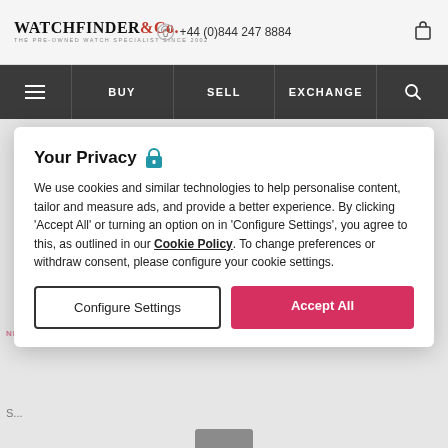WATCHFINDER & Co. THE PRE-OWNED WATCH SPECIALIST SINCE 2002 | +44 (0)844 247 8884
BUY | SELL | EXCHANGE
••• > 175989
Blancpain
Villeret
6653Q-1529-55B
Your Privacy 🔒
We use cookies and similar technologies to help personalise content, tailor and measure ads, and provide a better experience. By clicking 'Accept All' or turning an option on in 'Configure Settings', you agree to this, as outlined in our Cookie Policy. To change preferences or withdraw consent, please configure your cookie settings.
Configure Settings
Accept All